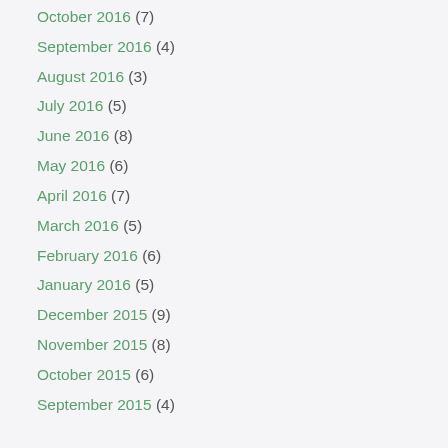October 2016 (7)
September 2016 (4)
August 2016 (3)
July 2016 (5)
June 2016 (8)
May 2016 (6)
April 2016 (7)
March 2016 (5)
February 2016 (6)
January 2016 (5)
December 2015 (9)
November 2015 (8)
October 2015 (6)
September 2015 (4)